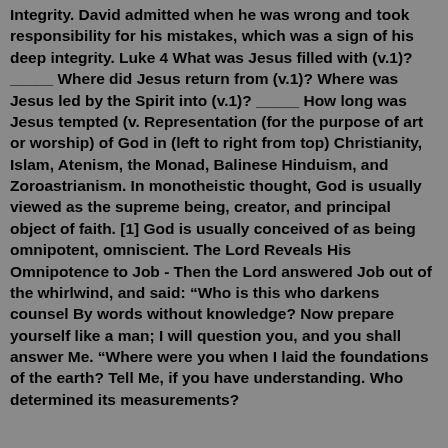Integrity. David admitted when he was wrong and took responsibility for his mistakes, which was a sign of his deep integrity. Luke 4 What was Jesus filled with (v.1)? _____ Where did Jesus return from (v.1)? Where was Jesus led by the Spirit into (v.1)? _____ How long was Jesus tempted (v. Representation (for the purpose of art or worship) of God in (left to right from top) Christianity, Islam, Atenism, the Monad, Balinese Hinduism, and Zoroastrianism. In monotheistic thought, God is usually viewed as the supreme being, creator, and principal object of faith. [1] God is usually conceived of as being omnipotent, omniscient. The Lord Reveals His Omnipotence to Job - Then the Lord answered Job out of the whirlwind, and said: “Who is this who darkens counsel By words without knowledge? Now prepare yourself like a man; I will question you, and you shall answer Me. “Where were you when I laid the foundations of the earth? Tell Me, if you have understanding. Who determined its measurements?